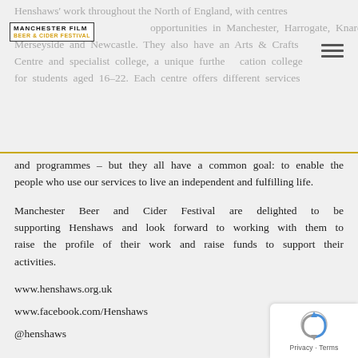[Figure (logo): Manchester Beer & Cider Festival logo in top left, with hamburger menu icon on the right]
Henshaws' work throughout the North of England, with centres opportunities in Manchester, Harrogate, Knaresborough, Merseyside and Newcastle. They also have an Arts & Crafts Centre and specialist college, a unique further education college for students aged 16-22. Each centre offers different services and programmes – but they all have a common goal: to enable the people who use our services to live an independent and fulfilling life.
Manchester Beer and Cider Festival are delighted to be supporting Henshaws and look forward to working with them to raise the profile of their work and raise funds to support their activities.
www.henshaws.org.uk
www.facebook.com/Henshaws
@henshaws